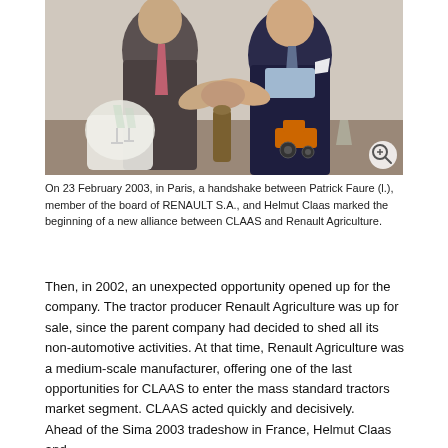[Figure (photo): Photo of two men in suits shaking hands at a table. A white cloth, champagne glasses, and a small orange tractor toy model are visible on the table. A magnifying glass icon is in the bottom-right corner of the image.]
On 23 February 2003, in Paris, a handshake between Patrick Faure (l.), member of the board of RENAULT S.A., and Helmut Claas marked the beginning of a new alliance between CLAAS and Renault Agriculture.
Then, in 2002, an unexpected opportunity opened up for the company. The tractor producer Renault Agriculture was up for sale, since the parent company had decided to shed all its non-automotive activities. At that time, Renault Agriculture was a medium-scale manufacturer, offering one of the last opportunities for CLAAS to enter the mass standard tractors market segment. CLAAS acted quickly and decisively.
Ahead of the Sima 2003 tradeshow in France, Helmut Claas and